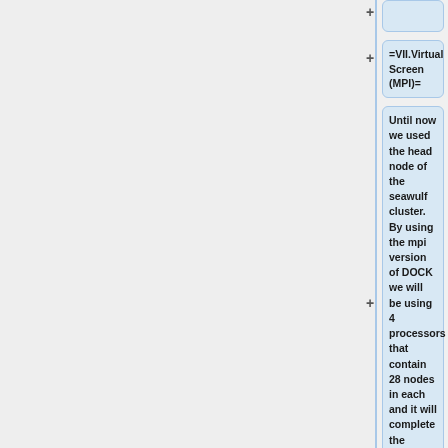+
=VII.Virtual Screen (MPI)=
Until now we used the head node of the seawulf cluster. By using the mpi version of DOCK we will be using 4 processors that contain 28 nodes in each and it will complete the virtual screen quicker.
Move to a new directory. (8 virtual scroo